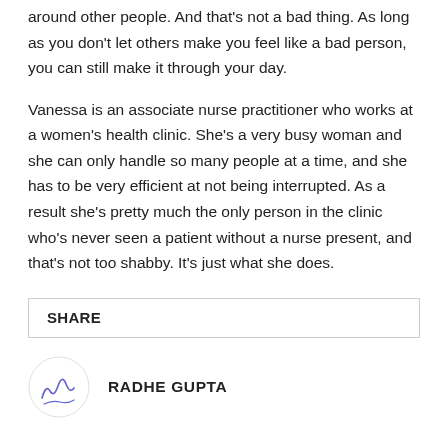around other people. And that's not a bad thing. As long as you don't let others make you feel like a bad person, you can still make it through your day.
Vanessa is an associate nurse practitioner who works at a women's health clinic. She's a very busy woman and she can only handle so many people at a time, and she has to be very efficient at not being interrupted. As a result she's pretty much the only person in the clinic who's never seen a patient without a nurse present, and that's not too shabby. It's just what she does.
SHARE
RADHE GUPTA